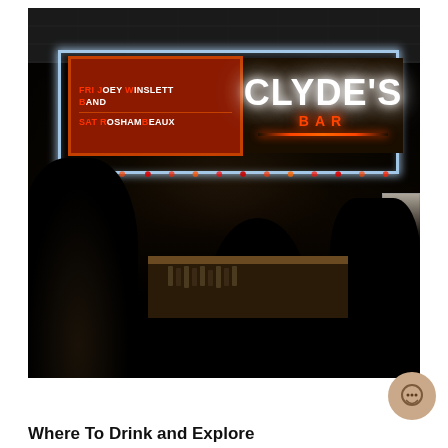[Figure (photo): Interior nighttime photo of Clyde's Bar, showing neon signage reading 'CLYDE'S BAR' in white and red neon, with a marquee board on the left listing 'FRI JOEY WINSLETT BAND' and 'SAT ROSHAMBEAUX' in red and white lettering. Dark bar interior with crowd silhouettes in foreground, string lights in background, and a bar counter visible.]
Where To Drink and Explore